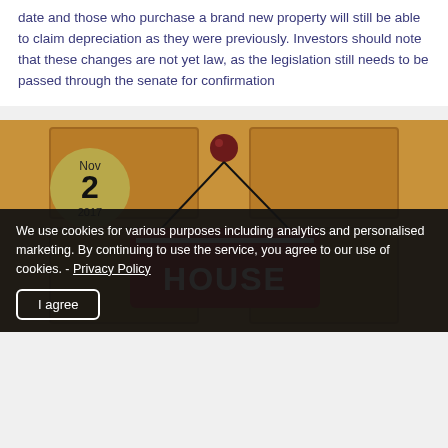date and those who purchase a brand new property will still be able to claim depreciation as they were previously. Investors should note that these changes are not yet law, as the legislation still needs to be passed through the senate for confirmation
[Figure (photo): Photo of a wooden door with a hanging red 'HOUSE' sign, with a date badge showing Nov 2, 2017 overlaid on the left side of the image]
We use cookies for various purposes including analytics and personalised marketing. By continuing to use the service, you agree to our use of cookies. - Privacy Policy